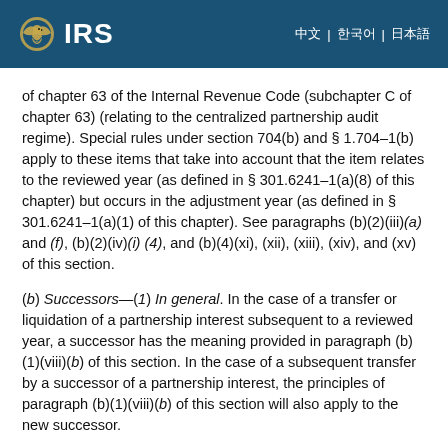IRS
of chapter 63 of the Internal Revenue Code (subchapter C of chapter 63) (relating to the centralized partnership audit regime). Special rules under section 704(b) and § 1.704–1(b) apply to these items that take into account that the item relates to the reviewed year (as defined in § 301.6241–1(a)(8) of this chapter) but occurs in the adjustment year (as defined in § 301.6241–1(a)(1) of this chapter). See paragraphs (b)(2)(iii)(a) and (f), (b)(2)(iv)(i)(4), and (b)(4)(xi), (xii), (xiii), (xiv), and (xv) of this section.
(b) Successors—(1) In general. In the case of a transfer or liquidation of a partnership interest subsequent to a reviewed year, a successor has the meaning provided in paragraph (b)(1)(viii)(b) of this section. In the case of a subsequent transfer by a successor of a partnership interest, the principles of paragraph (b)(1)(viii)(b) of this section will also apply to the new successor.
(2) Identifiable transferee partner. Except as otherwise provided in paragraph (b)(1)(viii)(b)(3) of this section, in the case of a transfer of all or part of a partnership